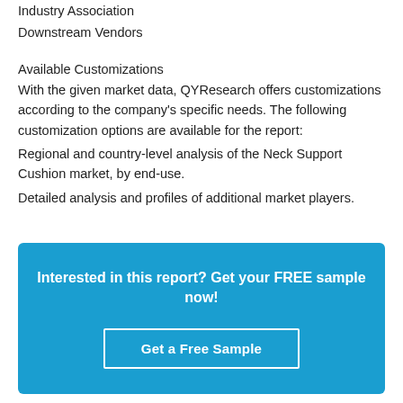Industry Association
Downstream Vendors
Available Customizations
With the given market data, QYResearch offers customizations according to the company's specific needs. The following customization options are available for the report:
Regional and country-level analysis of the Neck Support Cushion market, by end-use.
Detailed analysis and profiles of additional market players.
Interested in this report? Get your FREE sample now!
Get a Free Sample